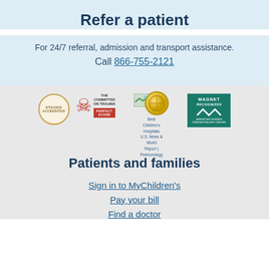Refer a patient
For 24/7 referral, admission and transport assistance.
Call 866-755-2121
[Figure (logo): Row of accreditation logos: circular badge, Committee on Trauma, Best Children's Hospitals U.S. News & World Report Pulmonology gold medal, Magnet Recognized]
Patients and families
Sign in to MyChildren's
Pay your bill
Find a doctor